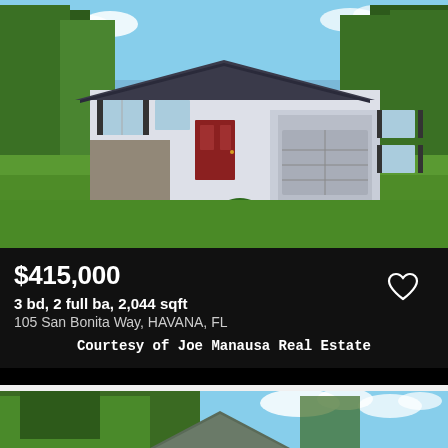[Figure (photo): Exterior photo of a single-story house with gray siding, dark roof, red front door, attached garage, wide green lawn, concrete driveway, surrounded by tall trees, blue sky]
$415,000
3 bd, 2 full ba, 2,044 sqft
105 San Bonita Way, HAVANA, FL
Courtesy of Joe Manausa Real Estate
[Figure (photo): Partial exterior photo of a house with gray/green roofline visible, surrounded by dense trees, blue sky with clouds above]